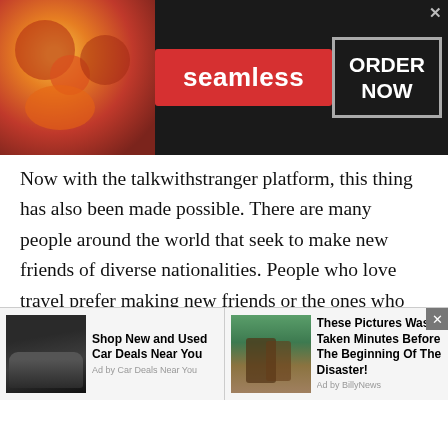[Figure (screenshot): Seamless food delivery advertisement banner with pizza image on left, red Seamless logo in center, and ORDER NOW button on right with close X button]
Now with the talkwithstranger platform, this thing has also been made possible. There are many people around the world that seek to make new friends of diverse nationalities. People who love travel prefer making new friends or the ones who love to understand other cultures and traditions make friends from different countries. Talkwithstranger works in a very different way in contrast to Turkmen chat sites. Here, there is a dedicated chat room for people who are seeking to
[Figure (screenshot): Bottom advertisement strip with two ads: 'Shop New and Used Car Deals Near You' with SUV photo (Ad by Car Deals Near You), and 'These Pictures Was Taken Minutes Before The Beginning Of The Disaster!' with outdoor photo (Ad by BillyNews)]